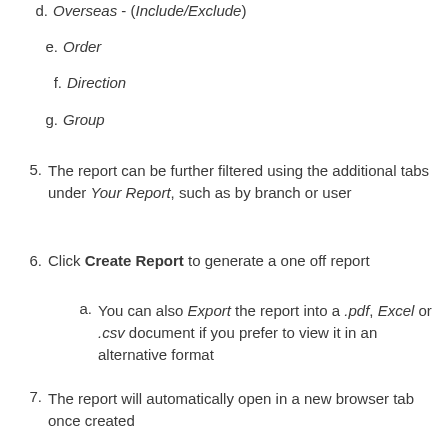d. Overseas - (Include/Exclude)
e. Order
f. Direction
g. Group
5. The report can be further filtered using the additional tabs under Your Report, such as by branch or user
6. Click Create Report to generate a one off report
a. You can also Export the report into a .pdf, Excel or .csv document if you prefer to view it in an alternative format
7. The report will automatically open in a new browser tab once created
a. The report also appears as a Page icon next